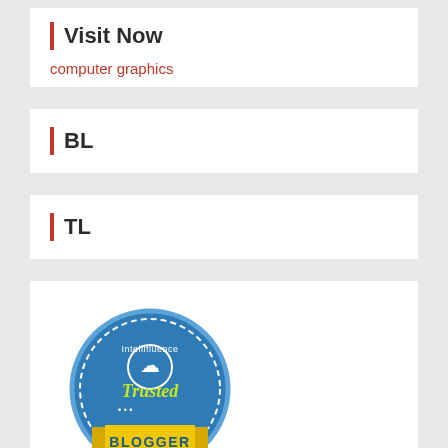Visit Now
computer graphics
BL
TL
[Figure (logo): Intellifluence Trusted Blogger badge — circular blue badge with yellow ribbon banner reading BLOGGER]